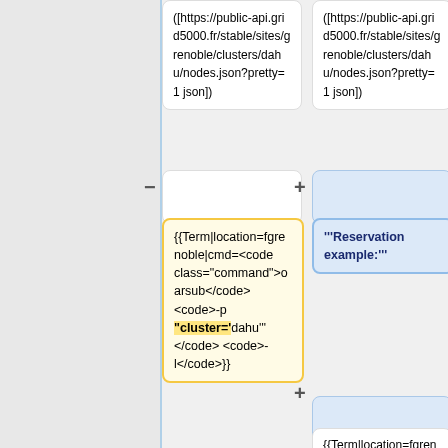([https://public-api.grid5000.fr/stable/sites/grenoble/clusters/dahu/nodes.json?pretty=1 json])
([https://public-api.grid5000.fr/stable/sites/grenoble/clusters/dahu/nodes.json?pretty=1 json])
{{Term|location=fgrenoble|cmd=<code class="command">oarsub</code><code>-p "cluster='dahu'"</code> <code>-l</code>}}
'''Reservation example:'''
{{Term|location=fgrenoble|cmd=<code